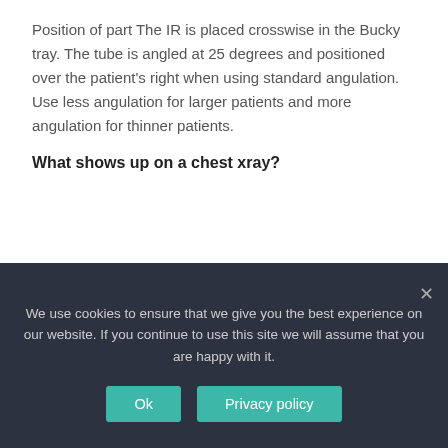Position of part The IR is placed crosswise in the Bucky tray. The tube is angled at 25 degrees and positioned over the patient's right when using standard angulation. Use less angulation for larger patients and more angulation for thinner patients.
What shows up on a chest xray?
[Figure (photo): Dark/black image block representing a chest x-ray video or image placeholder]
We use cookies to ensure that we give you the best experience on our website. If you continue to use this site we will assume that you are happy with it.